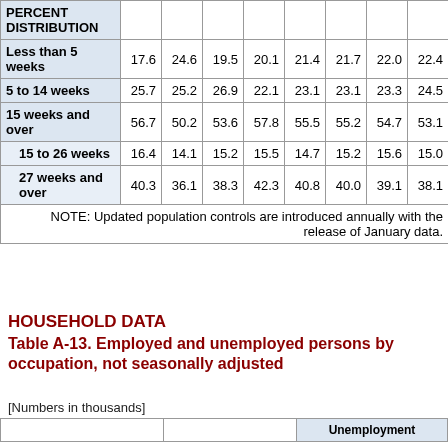| PERCENT DISTRIBUTION |  |  |  |  |  |  |  |  |
| --- | --- | --- | --- | --- | --- | --- | --- | --- |
| Less than 5 weeks | 17.6 | 24.6 | 19.5 | 20.1 | 21.4 | 21.7 | 22.0 | 22.4 |
| 5 to 14 weeks | 25.7 | 25.2 | 26.9 | 22.1 | 23.1 | 23.1 | 23.3 | 24.5 |
| 15 weeks and over | 56.7 | 50.2 | 53.6 | 57.8 | 55.5 | 55.2 | 54.7 | 53.1 |
| 15 to 26 weeks | 16.4 | 14.1 | 15.2 | 15.5 | 14.7 | 15.2 | 15.6 | 15.0 |
| 27 weeks and over | 40.3 | 36.1 | 38.3 | 42.3 | 40.8 | 40.0 | 39.1 | 38.1 |
NOTE: Updated population controls are introduced annually with the release of January data.
HOUSEHOLD DATA
Table A-13. Employed and unemployed persons by occupation, not seasonally adjusted
[Numbers in thousands]
|  |  | Unemployment |
| --- | --- | --- |